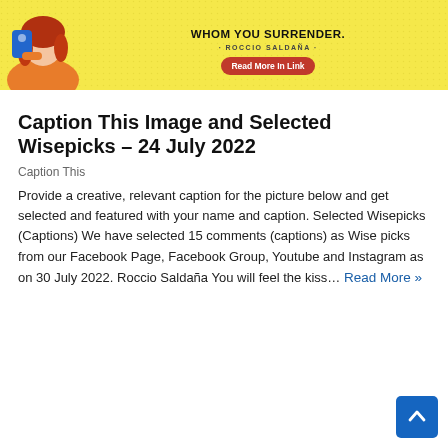[Figure (illustration): Banner image with a yellow background and dot texture, showing an illustrated woman with red hair kissing/holding a blue bird/phone. Text reads 'WHOM YOU SURRENDER.' and '· ROCCIO SALDAÑA ·' with a red 'Read More In Link' button.]
Caption This Image and Selected Wisepicks – 24 July 2022
Caption This
Provide a creative, relevant caption for the picture below and get selected and featured with your name and caption. Selected Wisepicks (Captions) We have selected 15 comments (captions) as Wise picks from our Facebook Page, Facebook Group, Youtube and Instagram as on 30 July 2022. Roccio Saldaña You will feel the kiss… Read More »